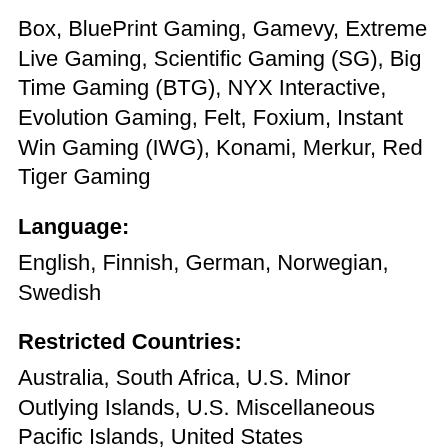Box, BluePrint Gaming, Gamevy, Extreme Live Gaming, Scientific Gaming (SG), Big Time Gaming (BTG), NYX Interactive, Evolution Gaming, Felt, Foxium, Instant Win Gaming (IWG), Konami, Merkur, Red Tiger Gaming
Language:
English, Finnish, German, Norwegian, Swedish
Restricted Countries:
Australia, South Africa, U.S. Minor Outlying Islands, U.S. Miscellaneous Pacific Islands, United States
Deposits and withdrawals
Accepted Currency:
Euro - EUR, Norwegian Kroner - NOK,